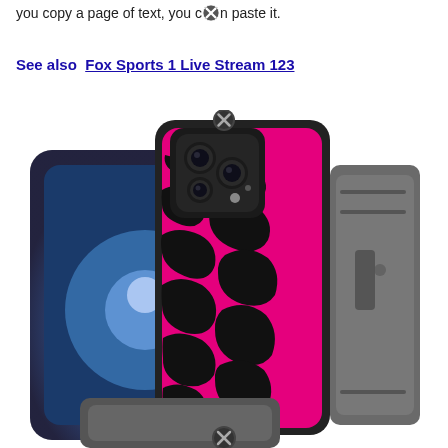you copy a page of text, you can paste it.
See also  Fox Sports 1 Live Stream 123
[Figure (photo): iPhone case with hot pink and black zebra print pattern, shown with a rugged gray protective outer shell/holster. The phone case is displayed at an angle showing the triple camera cutout and the bold zebra stripe design on the back.]